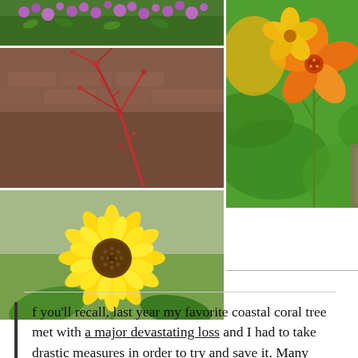[Figure (photo): Purple flowering plant against green foliage, top-left photo]
[Figure (photo): Red branching plant/coral tree stems with blurred brown background, middle-left photo]
[Figure (photo): Bright yellow sunflower with green leaves against blurred background, bottom-left photo]
[Figure (photo): Orange and yellow nasturtium flower with green leaves and stems, right column photo spanning two rows]
f you'll recall, last year my favorite coastal coral tree met with a major devastating loss and I had to take drastic measures in order to try and save it. Many people in the comments said it was a lost cause and it